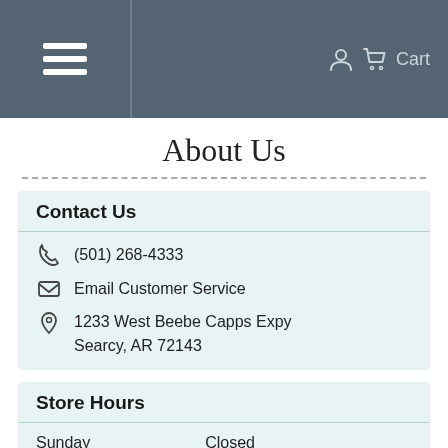Cart
About Us
Contact Us
(501) 268-4333
Email Customer Service
1233 West Beebe Capps Expy
Searcy, AR 72143
Store Hours
| Day | Hours |
| --- | --- |
| Sunday | Closed |
| Monday | 8:00 AM To 5:00 PM |
| Tuesday | 8:00 AM To 5:00 PM |
| Wednesday | 8:00 AM To 5:00 PM |